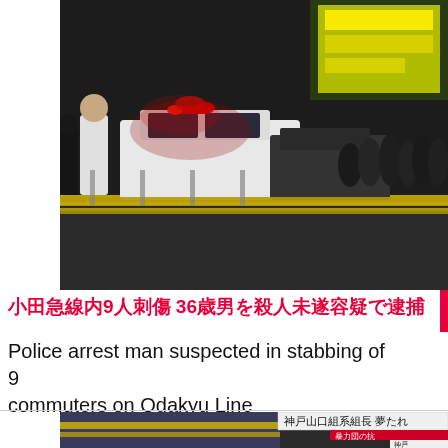[Figure (photo): Night scene at a train station with police cars, red/blue flashing lights, a crowd of people standing behind yellow police tape. Dark atmosphere with a lit storefront with Japanese text in yellow in the background.]
小田急線内9人刺傷 36歳男を殺人未遂容疑で逮捕
Police arrest man suspected in stabbing of 9 commuters on Odakyu Line
[Figure (photo): Bottom news photo showing a scene with yellow police tape and Japanese text overlay reading '神戸山口組系組長 夢たれ' and '暴力団の抗' and '神戸'.]